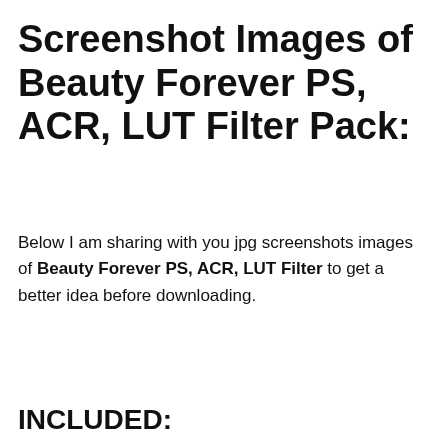Screenshot Images of Beauty Forever PS, ACR, LUT Filter Pack:
Below I am sharing with you jpg screenshots images of Beauty Forever PS, ACR, LUT Filter to get a better idea before downloading.
INCLUDED: